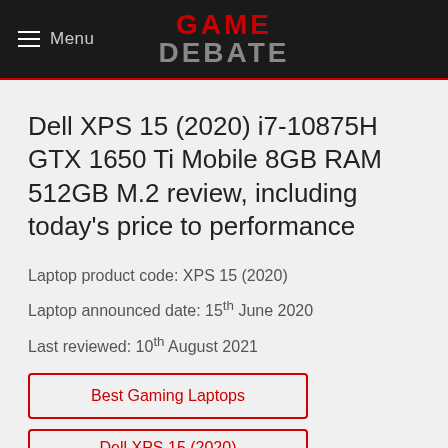Menu | GAME DEBATE
Dell XPS 15 (2020) i7-10875H GTX 1650 Ti Mobile 8GB RAM 512GB M.2 review, including today's price to performance
Laptop product code: XPS 15 (2020)
Laptop announced date: 15th June 2020
Last reviewed: 10th August 2021
Best Gaming Laptops
Dell XPS 15 (2020)